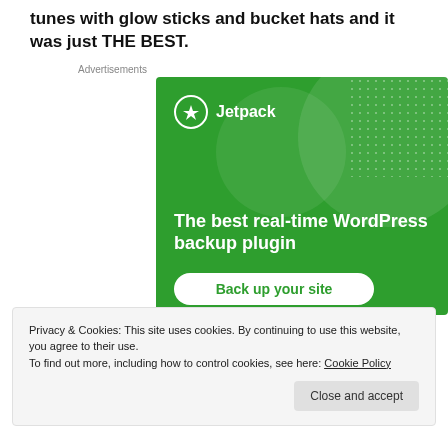tunes with glow sticks and bucket hats and it was just THE BEST.
Advertisements
[Figure (illustration): Jetpack advertisement banner with green background showing a circle graphic, Jetpack logo, headline 'The best real-time WordPress backup plugin', and a 'Back up your site' button]
Privacy & Cookies: This site uses cookies. By continuing to use this website, you agree to their use.
To find out more, including how to control cookies, see here: Cookie Policy